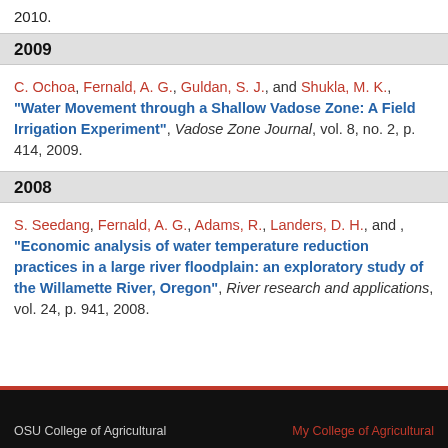2010.
2009
C. Ochoa, Fernald, A. G., Guldan, S. J., and Shukla, M. K., "Water Movement through a Shallow Vadose Zone: A Field Irrigation Experiment", Vadose Zone Journal, vol. 8, no. 2, p. 414, 2009.
2008
S. Seedang, Fernald, A. G., Adams, R., Landers, D. H., and , "Economic analysis of water temperature reduction practices in a large river floodplain: an exploratory study of the Willamette River, Oregon", River research and applications, vol. 24, p. 941, 2008.
OSU College of Agricultural    My College of Agricultural